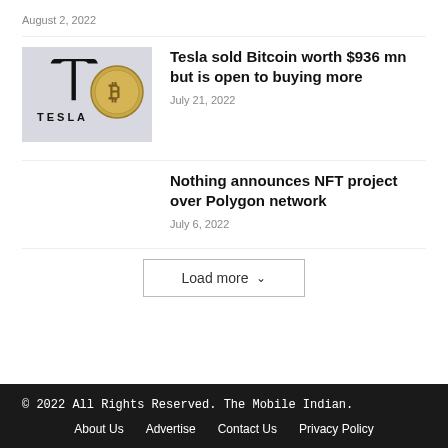August 2, 2022
[Figure (photo): Tesla logo with a Bitcoin coin placed next to it on a light surface]
Tesla sold Bitcoin worth $936 mn but is open to buying more
July 21, 2022
Nothing announces NFT project over Polygon network
July 6, 2022
Load more
© 2022 All Rights Reserved. The Mobile Indian.
About Us  Advertise  Contact Us  Privacy Policy